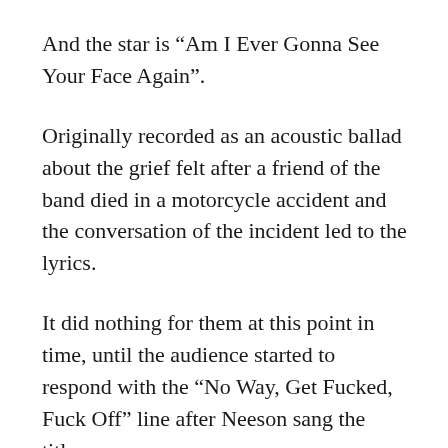And the star is “Am I Ever Gonna See Your Face Again”.
Originally recorded as an acoustic ballad about the grief felt after a friend of the band died in a motorcycle accident and the conversation of the incident led to the lyrics.
It did nothing for them at this point in time, until the audience started to respond with the “No Way, Get Fucked, Fuck Off” line after Neeson sang the title.